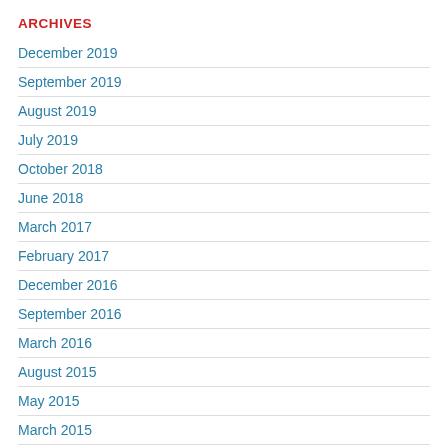ARCHIVES
December 2019
September 2019
August 2019
July 2019
October 2018
June 2018
March 2017
February 2017
December 2016
September 2016
March 2016
August 2015
May 2015
March 2015
January 2015
December 2014
September 2014